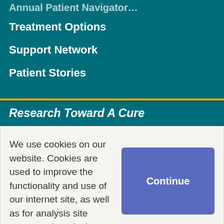Treatment Options
Support Network
Patient Stories
Research Toward A Cure
We use cookies on our website. Cookies are used to improve the functionality and use of our internet site, as well as for analysis site usage and marketing purposes. To see our privacy policy click here. By continuing to use this site without changing your settings you consent to our use of cookies.